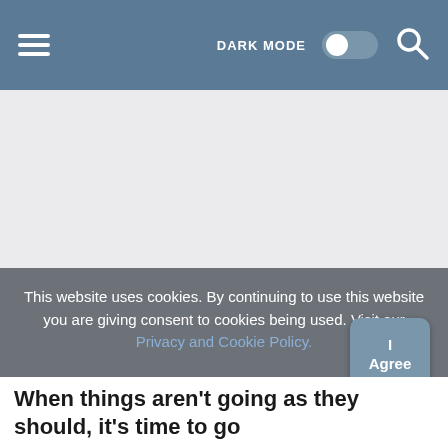[Figure (screenshot): Navigation bar with hamburger menu on the left, DARK MODE toggle switch in the center-right, and a search magnifying glass icon on the far right. Background is steel blue.]
[Figure (screenshot): Main content area with light gray background, appearing mostly blank/empty.]
This website uses cookies. By continuing to use this website you are giving consent to cookies being used. Visit our Privacy and Cookie Policy.
I Agree
When things aren't going as they should, it's time to go